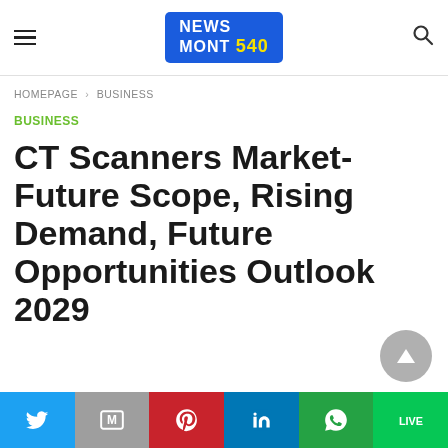NEWS MONT 540 — site header with hamburger menu and search icon
HOMEPAGE › BUSINESS
BUSINESS
CT Scanners Market- Future Scope, Rising Demand, Future Opportunities Outlook 2029
[Figure (other): Scroll-to-top button, grey circle with upward arrow]
Social share bar: Twitter, Gmail/M, Pinterest, LinkedIn, WhatsApp, LINE